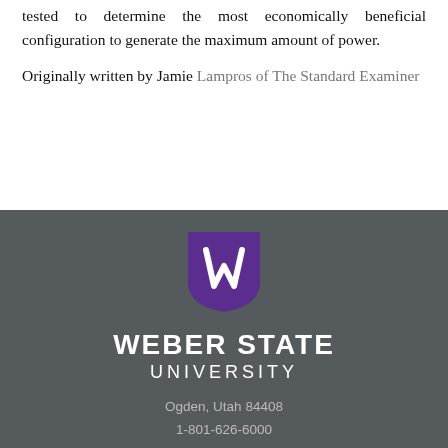tested to determine the most economically beneficial configuration to generate the maximum amount of power.
Originally written by Jamie Lampros of The Standard Examiner
[Figure (logo): Weber State University shield logo — purple shield with white W flame symbol]
WEBER STATE UNIVERSITY
Ogden, Utah 84408
1-801-626-6000
Contact Us